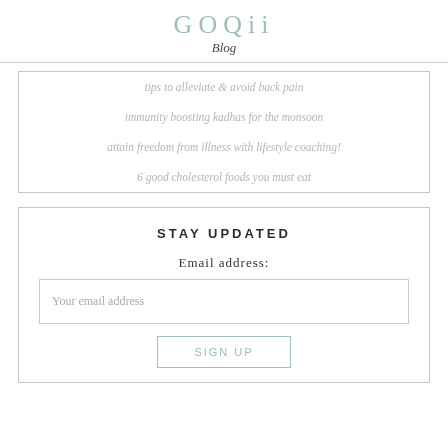GOQii Blog
tips to alleviate & avoid back pain
immunity boosting kadhas for the monsoon
attain freedom from illness with lifestyle coaching!
6 good cholesterol foods you must eat
STAY UPDATED
Email address:
Your email address
SIGN UP